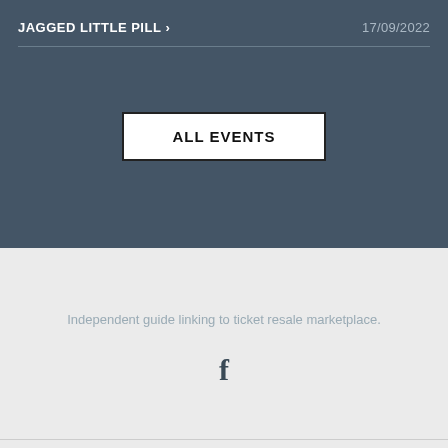JAGGED LITTLE PILL >
17/09/2022
ALL EVENTS
Independent guide linking to ticket resale marketplace.
[Figure (logo): Facebook logo icon (f)]